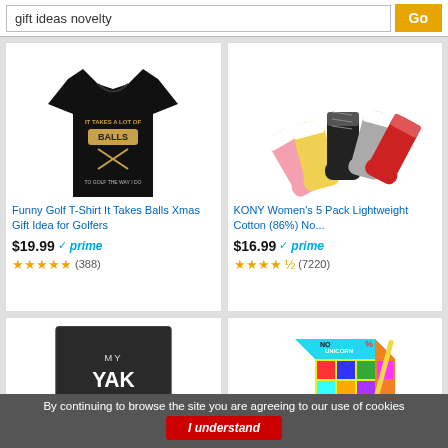gift ideas novelty
[Figure (screenshot): Black golf t-shirt with text 'It Takes A Lot Of Balls To Golf The Way I Do']
Funny Golf T-Shirt It Takes Balls Xmas Gift Idea for Golfers
$19.99 prime (388 reviews)
[Figure (screenshot): KONY Women's 5 Pack colorful sneaker no-show socks in pink, yellow, black, gray, red colors]
KONY Women's 5 Pack Lightweight Cotton (86%) No...
$16.99 prime (7220 reviews)
[Figure (screenshot): Book cover: My Yak Ate My Homeworkx on dark background with small yak image]
[Figure (screenshot): Colorful novelty box with unicorn design and multicolored scratch art papers]
By continuing to browse the site you are agreeing to our use of cookies
I understand